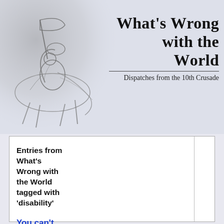[Figure (illustration): Black and white sketch illustration of a medieval crusader knight on horseback, carrying a banner/flag, positioned in the upper left of the header area.]
What's Wrong with the World
Dispatches from the 10th Crusade
Entries from What's Wrong with the World tagged with 'disability'
You can't say that